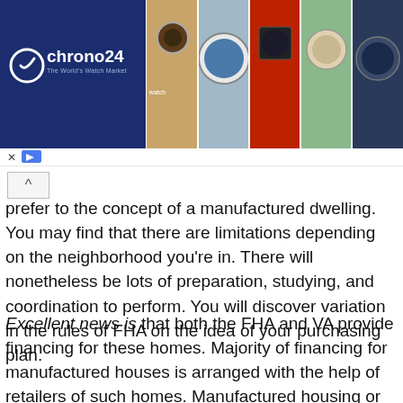[Figure (screenshot): Chrono24 advertisement banner showing the Chrono24 logo on a dark blue background on the left, and a row of watch images on the right. Below: navigation X and play controls.]
prefer to the concept of a manufactured dwelling. You may find that there are limitations depending on the neighborhood you're in. There will nonetheless be lots of preparation, studying, and coordination to perform. You will discover variation in the rules of FHA on the idea of your purchasing plan.
Excellent news is that both the FHA and VA provide financing for these homes. Majority of financing for manufactured houses is arranged with the help of retailers of such homes. Manufactured housing or mobile homes are fully factory constructed homes that features one or more models with a steel frame. Appraisers, lenders and real property brokers perceive